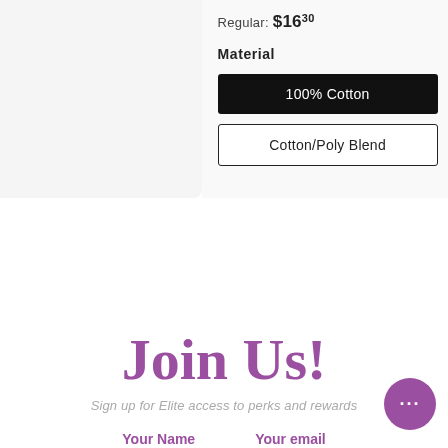Regular: $16.30
Material
100% Cotton
Cotton/Poly Blend
Join Us!
Sign up for Elite access to perks and rewards
Your Name
Your email